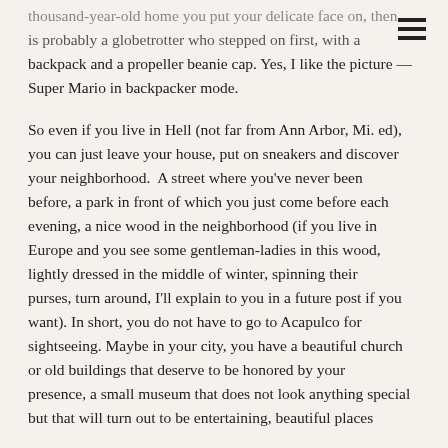thousand-year-old home you put your delicate face on, then is probably a globetrotter who stepped on first, with a backpack and a propeller beanie cap. Yes, I like the picture — Super Mario in backpacker mode.
So even if you live in Hell (not far from Ann Arbor, Mi. ed), you can just leave your house, put on sneakers and discover your neighborhood. A street where you've never been before, a park in front of which you just come before each evening, a nice wood in the neighborhood (if you live in Europe and you see some gentleman-ladies in this wood, lightly dressed in the middle of winter, spinning their purses, turn around, I'll explain to you in a future post if you want). In short, you do not have to go to Acapulco for sightseeing. Maybe in your city, you have a beautiful church or old buildings that deserve to be honored by your presence, a small museum that does not look anything special but that will turn out to be entertaining, beautiful places